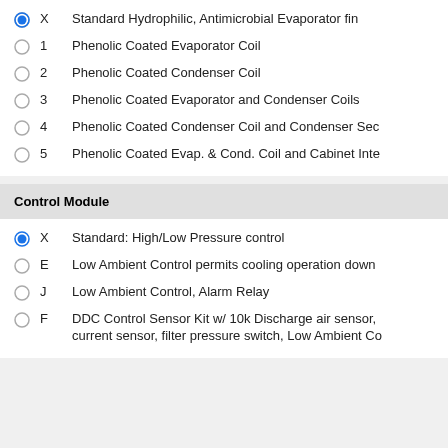X   Standard Hydrophilic, Antimicrobial Evaporator fin
1   Phenolic Coated Evaporator Coil
2   Phenolic Coated Condenser Coil
3   Phenolic Coated Evaporator and Condenser Coils
4   Phenolic Coated Condenser Coil and Condenser Sec
5   Phenolic Coated Evap. & Cond. Coil and Cabinet Inte
Control Module
X   Standard: High/Low Pressure control
E   Low Ambient Control permits cooling operation down
J   Low Ambient Control, Alarm Relay
F   DDC Control Sensor Kit w/ 10k Discharge air sensor, current sensor, filter pressure switch, Low Ambient Co